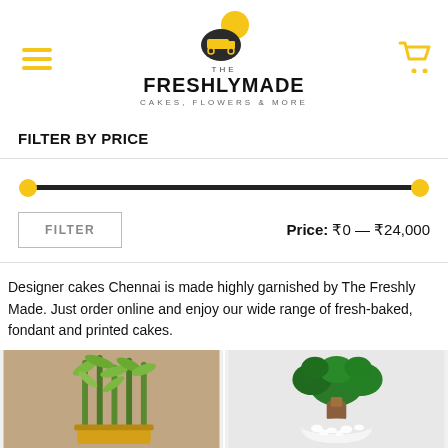THE FRESHLYMADE — CAKES, FLOWERS & MORE
FILTER BY PRICE
Price: ₹0 — ₹24,000
Designer cakes Chennai is made highly garnished by The Freshly Made. Just order online and enjoy our wide range of fresh-baked, fondant and printed cakes.
[Figure (photo): Lucky bamboo plant in a gold-rimmed pot against a blurred wooden background]
[Figure (photo): Jade plant / Crassula ovata in a white ceramic pot with white pebbles]